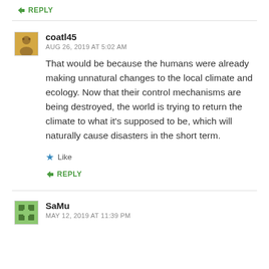↳ REPLY
coatl45
AUG 26, 2019 AT 5:02 AM
That would be because the humans were already making unnatural changes to the local climate and ecology. Now that their control mechanisms are being destroyed, the world is trying to return the climate to what it's supposed to be, which will naturally cause disasters in the short term.
★ Like
↳ REPLY
SaMu
MAY 12, 2019 AT 11:39 PM